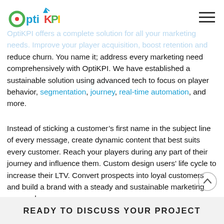OptiKPI logo and navigation menu
OptiKPI offers a complete solution for all your marketing needs. Improve your player acquisition, boost retention and reduce churn. You name it; address every marketing need comprehensively with OptiKPI. We have established a sustainable solution using advanced tech to focus on player behavior, segmentation, journey, real-time automation, and more.
Instead of sticking a customer’s first name in the subject line of every message, create dynamic content that best suits every customer. Reach your players during any part of their journey and influence them. Custom design users’ life cycle to increase their LTV. Convert prospects into loyal customers and build a brand with a steady and sustainable marketing approach.
READY TO DISCUSS YOUR PROJECT